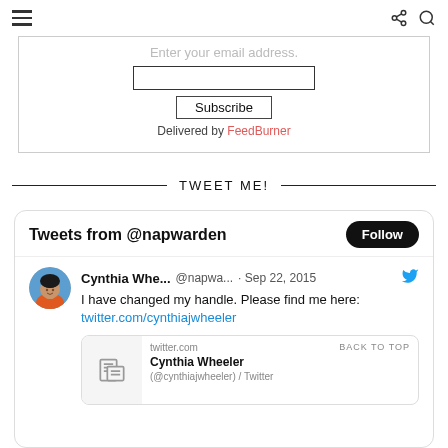Navigation bar with hamburger menu, share, and search icons
Enter your email address.
Subscribe
Delivered by FeedBurner
TWEET ME!
[Figure (screenshot): Twitter widget showing 'Tweets from @napwarden' with a Follow button. A tweet from Cynthia Whe... @napwa... · Sep 22, 2015 reads: 'I have changed my handle. Please find me here: twitter.com/cynthiajwheeler'. Below is a preview card showing twitter.com domain, 'Cynthia Wheeler' title, and truncated description '(@cynthiajwheeler) / Twitter'.]